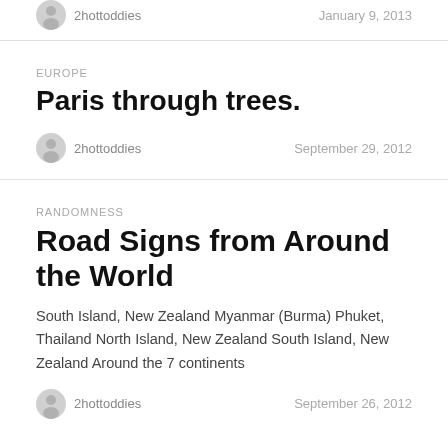2hottoddies
January 9, 2013
EUROPE
Paris through trees.
2hottoddies
September 29, 2012
RANDOMNESS
Road Signs from Around the World
South Island, New Zealand Myanmar (Burma) Phuket, Thailand North Island, New Zealand South Island, New Zealand Around the 7 continents
2hottoddies
September 26, 2012